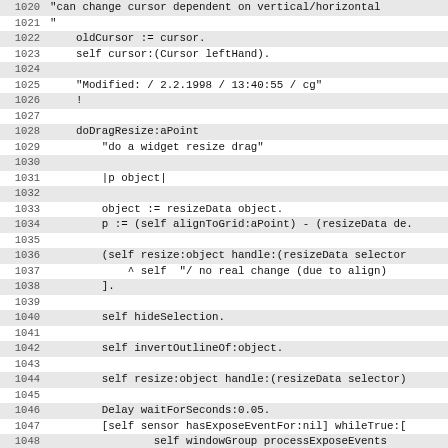1020    "can change cursor dependent on vertical/horizontal
1021    "
1022        oldCursor := cursor.
1023        self cursor:(Cursor leftHand).
1024
1025        "Modified: / 2.2.1998 / 13:40:55 / cg"
1026    !
1027
1028    doDragResize:aPoint
1029        "do a widget resize drag"
1030
1031        |p object|
1032
1033        object := resizeData object.
1034        p := (self alignToGrid:aPoint) - (resizeData de.
1035
1036        (self resize:object handle:(resizeData selector
1037            ^ self  "/ no real change (due to align)
1038        ].
1039
1040        self hideSelection.
1041
1042        self invertOutlineOf:object.
1043
1044        self resize:object handle:(resizeData selector)
1045
1046        Delay waitForSeconds:0.05.
1047        [self sensor hasExposeEventFor:nil] whileTrue:[
1048                self windowGroup processExposeEvents
1049        ].
1050
1051        "/ object geometryLayout:(object geometryLayout)